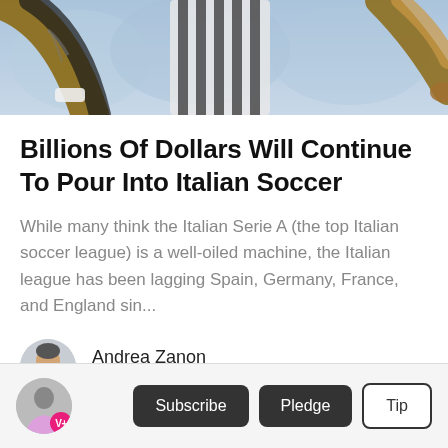[Figure (photo): Soccer players in jerseys, partial upper body view cropped at top of page]
Billions Of Dollars Will Continue To Pour Into Italian Soccer
While many think the Italian Serie A (the top Italian soccer league) is a well-oiled machine, the Italian league has been lagging Spain, Germany, France, and England sin...
Andrea Zanon
4 days ago in Education
Subscribe   Pledge   Tip